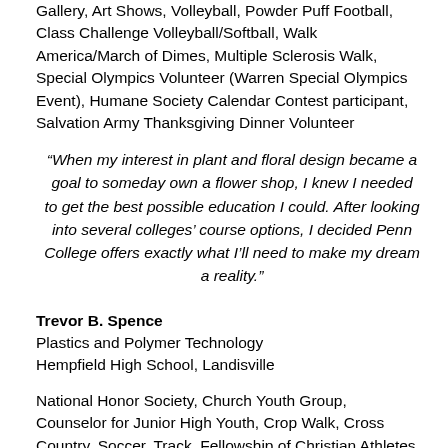Gallery, Art Shows, Volleyball, Powder Puff Football, Class Challenge Volleyball/Softball, Walk America/March of Dimes, Multiple Sclerosis Walk, Special Olympics Volunteer (Warren Special Olympics Event), Humane Society Calendar Contest participant, Salvation Army Thanksgiving Dinner Volunteer
“When my interest in plant and floral design became a goal to someday own a flower shop, I knew I needed to get the best possible education I could. After looking into several colleges’ course options, I decided Penn College offers exactly what I’ll need to make my dream a reality.”
Trevor B. Spence
Plastics and Polymer Technology
Hempfield High School, Landisville
National Honor Society, Church Youth Group, Counselor for Junior High Youth, Crop Walk, Cross Country, Soccer, Track, Fellowship of Christian Athletes, Church Soup